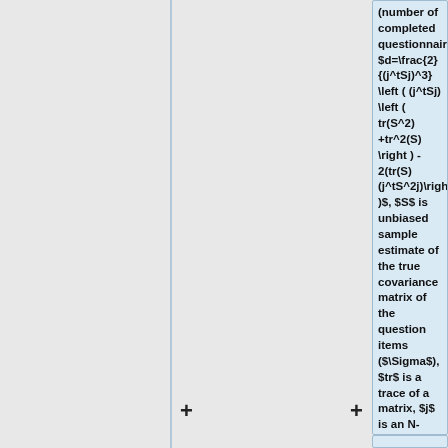(number of completed questionnaires), $d=\frac{2}{(j^tSj)^3} \left ( (j^tSj) \left ( tr(S^2) +tr^2(S) \right ) - 2(tr(S) (j^tS^2j)\right )$, $S$ is unbiased sample estimate of the true covariance matrix of the question items ($\Sigma$), $tr$ is a trace of a matrix, $j$ is an N-dimensional vector of ones.